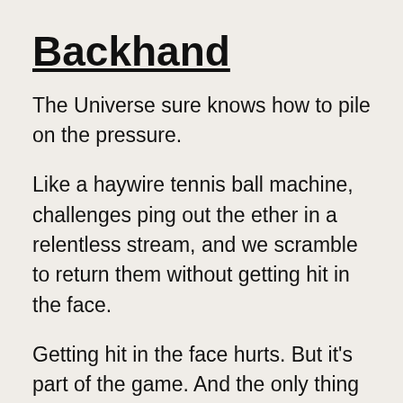Backhand
The Universe sure knows how to pile on the pressure.
Like a haywire tennis ball machine, challenges ping out the ether in a relentless stream, and we scramble to return them without getting hit in the face.
Getting hit in the face hurts. But it’s part of the game. And the only thing that getting hit in the face means is that another ball is coming up